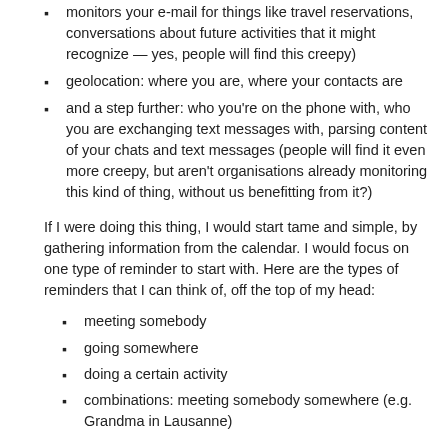monitors your e-mail for things like travel reservations, conversations about future activities that it might recognize — yes, people will find this creepy)
geolocation: where you are, where your contacts are
and a step further: who you're on the phone with, who you are exchanging text messages with, parsing content of your chats and text messages (people will find it even more creepy, but aren't organisations already monitoring this kind of thing, without us benefitting from it?)
If I were doing this thing, I would start tame and simple, by gathering information from the calendar. I would focus on one type of reminder to start with. Here are the types of reminders that I can think of, off the top of my head:
meeting somebody
going somewhere
doing a certain activity
combinations: meeting somebody somewhere (e.g. Grandma in Lausanne)
Two obvious ones are the two first ones: I could set rules for when I've planned to see somebody, and when I've planned to go somewhere.